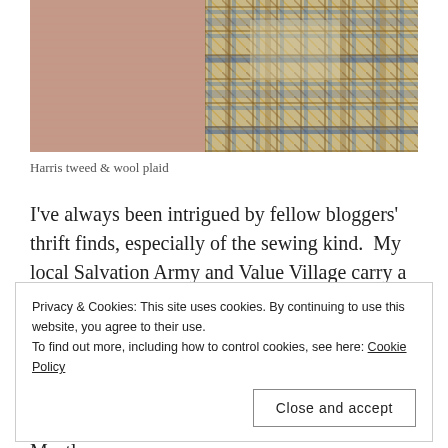[Figure (photo): Close-up photograph showing two fabric swatches side by side: on the left, a plain pink/salmon-colored Harris tweed fabric; on the right, a multi-colored wool plaid fabric with a herringbone/tweed weave in shades of brown, gold, blue, and cream.]
Harris tweed & wool plaid
I've always been intrigued by fellow bloggers' thrift finds, especially of the sewing kind.  My local Salvation Army and Value Village carry a lot of linens, but nothing that looks like I'd like to
Privacy & Cookies: This site uses cookies. By continuing to use this website, you agree to their use.
To find out more, including how to control cookies, see here: Cookie Policy
Close and accept
large VV that is not in my neighbourhood.  Mostly